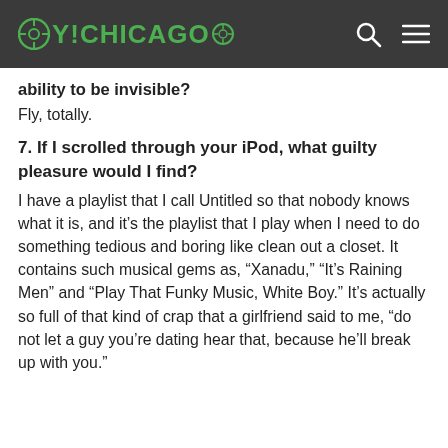OY!CHICAGO
ability to be invisible?
Fly, totally.
7. If I scrolled through your iPod, what guilty pleasure would I find?
I have a playlist that I call Untitled so that nobody knows what it is, and it's the playlist that I play when I need to do something tedious and boring like clean out a closet. It contains such musical gems as, “Xanadu,” “It’s Raining Men” and “Play That Funky Music, White Boy.” It’s actually so full of that kind of crap that a girlfriend said to me, “do not let a guy you’re dating hear that, because he’ll break up with you.”